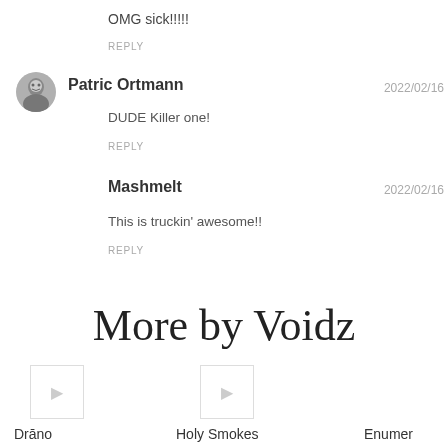OMG sick!!!!!
REPLY
Patric Ortmann
2022/02/16
DUDE Killer one!
REPLY
Mashmelt
2022/02/16
This is truckin' awesome!!
REPLY
More by Voidz
Drāno
Voidz
Holy Smokes
Voidz
Enumer
Voidz